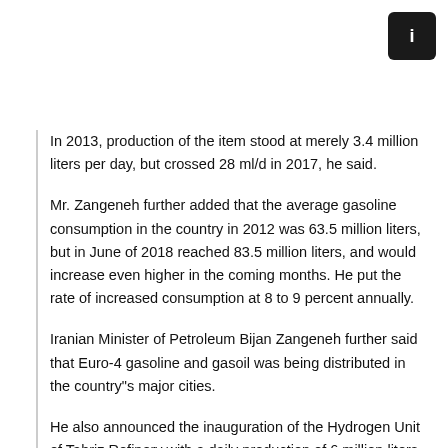In 2013, production of the item stood at merely 3.4 million liters per day, but crossed 28 ml/d in 2017, he said.
Mr. Zangeneh further added that the average gasoline consumption in the country in 2012 was 63.5 million liters, but in June of 2018 reached 83.5 million liters, and would increase even higher in the coming months. He put the rate of increased consumption at 8 to 9 percent annually.
Iranian Minister of Petroleum Bijan Zangeneh further said that Euro-4 gasoline and gasoil was being distributed in the country"s major cities.
He also announced the inauguration of the Hydrogen Unit of Tabriz Refinery with a daily production of 6 million liters of gasoil in August, adding the hydrogen purification